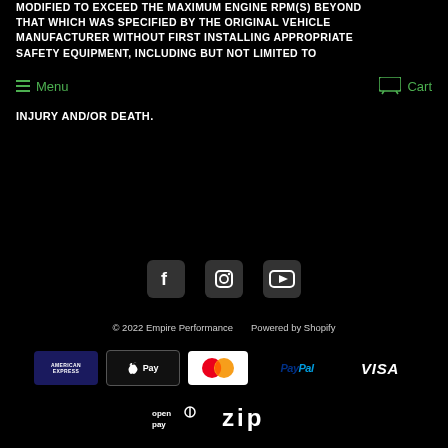MODIFIED TO EXCEED THE MAXIMUM ENGINE RPM(S) BEYOND THAT WHICH WAS SPECIFIED BY THE ORIGINAL VEHICLE MANUFACTURER WITHOUT FIRST INSTALLING APPROPRIATE SAFETY EQUIPMENT, INCLUDING BUT NOT LIMITED TO
Menu   Cart
INJURY AND/OR DEATH.
[Figure (other): Social media icons: Facebook, Instagram, YouTube]
© 2022 Empire Performance   Powered by Shopify
[Figure (other): Payment method logos: American Express, Apple Pay, MasterCard, PayPal, Visa, OpenPay, Zip]